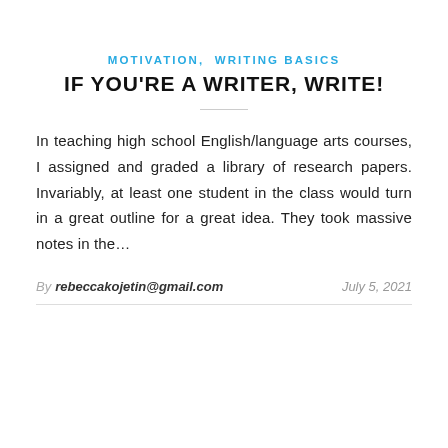MOTIVATION, WRITING BASICS
IF YOU'RE A WRITER, WRITE!
In teaching high school English/language arts courses, I assigned and graded a library of research papers. Invariably, at least one student in the class would turn in a great outline for a great idea. They took massive notes in the…
By rebeccakojetin@gmail.com   July 5, 2021
[Figure (screenshot): English language selector button with US flag emoji on dark rounded background]